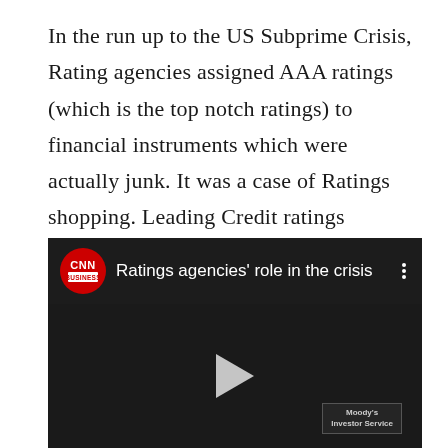In the run up to the US Subprime Crisis, Rating agencies assigned AAA ratings (which is the top notch ratings) to financial instruments which were actually junk. It was a case of Ratings shopping. Leading Credit ratings agencies Moody's and S&P were charged with fraud and had to pay hefty penalties.
[Figure (screenshot): CNN Business video thumbnail titled 'Ratings agencies' role in the crisis'. Dark background showing financial signage, with a play button in the center. A Moody's Investor Service sign is visible in the lower right.]